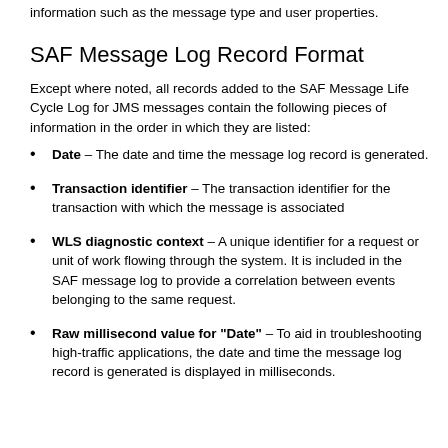information such as the message type and user properties.
SAF Message Log Record Format
Except where noted, all records added to the SAF Message Life Cycle Log for JMS messages contain the following pieces of information in the order in which they are listed:
Date – The date and time the message log record is generated.
Transaction identifier – The transaction identifier for the transaction with which the message is associated
WLS diagnostic context – A unique identifier for a request or unit of work flowing through the system. It is included in the SAF message log to provide a correlation between events belonging to the same request.
Raw millisecond value for "Date" – To aid in troubleshooting high-traffic applications, the date and time the message log record is generated is displayed in milliseconds.